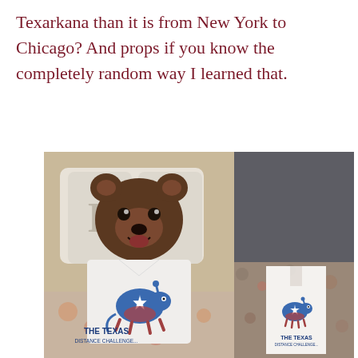Texarkana than it is from New York to Chicago? And props if you know the completely random way I learned that.
[Figure (photo): Two photos side by side on a dark gray background. Left photo: a stuffed brown bear/dog plush toy wearing a white tank top with 'THE TEXAS DISTANCE CHALLENGE' logo featuring an armadillo. Right side: top portion shows dark gray background, bottom portion shows the same white tank top laid flat on a patterned surface, displaying 'THE TEXAS DISTANCE CHALLENGE' logo with an armadillo.]